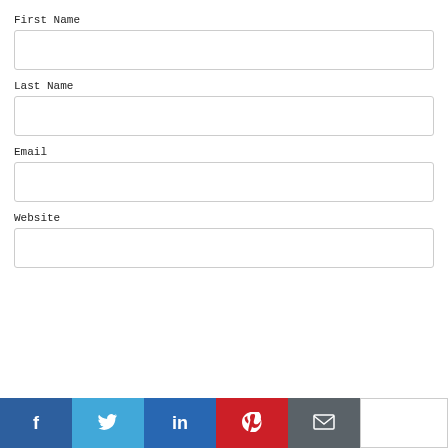First Name
Last Name
Email
Website
[Figure (other): Social media share bar with Facebook, Twitter, LinkedIn, Pinterest, and Email icons]